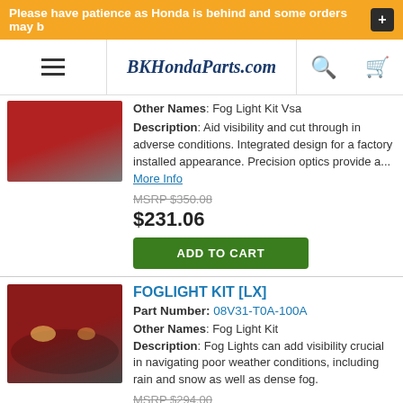Please have patience as Honda is behind and some orders may b
[Figure (logo): BKHondaParts.com website header with hamburger menu, logo, search icon, and cart icon]
[Figure (photo): Partial view of a red Honda car front/wheel area]
Other Names: Fog Light Kit Vsa
Description: Aid visibility and cut through in adverse conditions. Integrated design for a factory installed appearance. Precision optics provide a... More Info
MSRP $350.08
$231.06
ADD TO CART
FOGLIGHT KIT [LX]
Part Number: 08V31-T0A-100A
[Figure (photo): Red Honda Civic front view showing fog light area]
Other Names: Fog Light Kit
Description: Fog Lights can add visibility crucial in navigating poor weather conditions, including rain and snow as well as dense fog.
MSRP $294.00